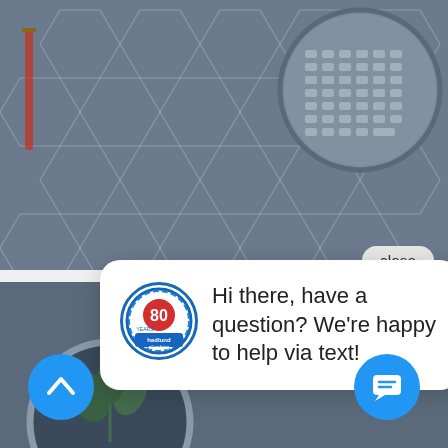[Figure (screenshot): Background top section: hexagonal tile pattern with keyboard in top-right corner on dark blue-grey surface]
[Figure (screenshot): Close button - rounded pill shaped button with text 'close']
close
[Figure (screenshot): Chat popup bubble with Hedlund Plumbing logo (80 years badge) and message text. White rounded rectangle with tail pointing down.]
Hi there, have a question? We're happy to help via text!
[Figure (screenshot): Bottom background section with mirror/circle and plant. Two blue circular buttons: up arrow on left, chat icon on right.]